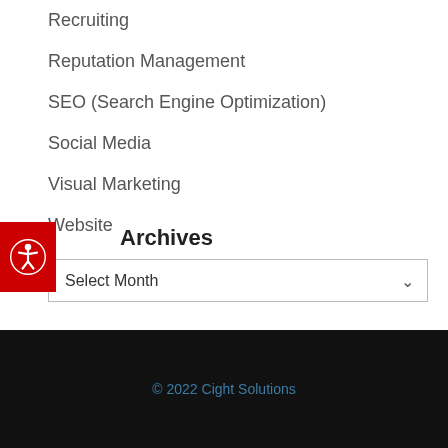Recruiting
Reputation Management
SEO (Search Engine Optimization)
Social Media
Visual Marketing
Website
Archives
Select Month
© 2022 Cight Solutions